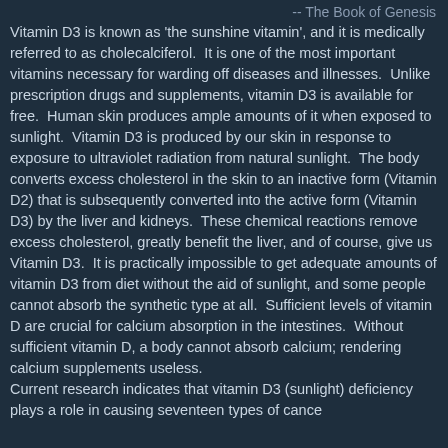-- The Book of Genesis
Vitamin D3 is known as 'the sunshine vitamin', and it is medically referred to as cholecalciferol.  It is one of the most important vitamins necessary for warding off diseases and illnesses.  Unlike prescription drugs and supplements, vitamin D3 is available for free.  Human skin produces ample amounts of it when exposed to sunlight.  Vitamin D3 is produced by our skin in response to exposure to ultraviolet radiation from natural sunlight.  The body converts excess cholesterol in the skin to an inactive form (Vitamin D2) that is subsequently converted into the active form (Vitamin D3) by the liver and kidneys.  These chemical reactions remove excess cholesterol, greatly benefit the liver, and of course, give us Vitamin D3.  It is practically impossible to get adequate amounts of vitamin D3 from diet without the aid of sunlight, and some people cannot absorb the synthetic type at all.  Sufficient levels of vitamin D are crucial for calcium absorption in the intestines.  Without sufficient vitamin D, a body cannot absorb calcium; rendering calcium supplements useless.
Current research indicates that vitamin D3 (sunlight) deficiency plays a role in causing seventeen types of cancer...